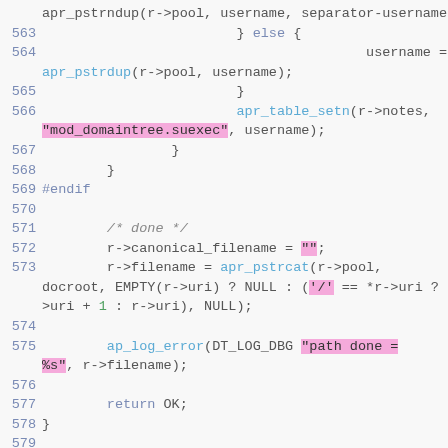Source code listing lines 562-581, C code for mod_domaintree module
[Figure (screenshot): C source code snippet showing lines 562-581 with syntax highlighting. Functions apr_pstrndup, apr_pstrdup, apr_table_setn, apr_pstrcat, ap_log_error, and keywords #endif, #ifdef, return OK shown. String literals 'mod_domaintree.suexec', empty string, '/', 'path done = %s' highlighted in pink.]